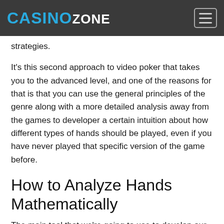CASINOZONE
strategies.
It's this second approach to video poker that takes you to the advanced level, and one of the reasons for that is that you can use the general principles of the genre along with a more detailed analysis away from the games to developer a certain intuition about how different types of hands should be played, even if you have never played that specific version of the game before.
How to Analyze Hands Mathematically
The main tool that we're going to use to develop our intuition for video poker strategies is a hand analyzer program. There are lots of video poker hand analysis apps out there that allow you to put in a game's pay table (and